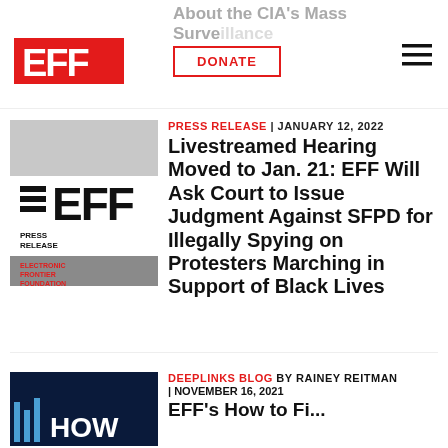About the CIA's Mass Surveillance
[Figure (logo): EFF (Electronic Frontier Foundation) red logo]
DONATE
[Figure (illustration): EFF Press Release thumbnail image with bars and EFF logo text, Electronic Frontier Foundation]
PRESS RELEASE | JANUARY 12, 2022
Livestreamed Hearing Moved to Jan. 21: EFF Will Ask Court to Issue Judgment Against SFPD for Illegally Spying on Protesters Marching in Support of Black Lives
[Figure (photo): Thumbnail image for Deeplinks Blog article - dark blue background with 'HOW' text visible]
DEEPLINKS BLOG BY RAINEY REITMAN | NOVEMBER 16, 2021
EFF's How to Fi...